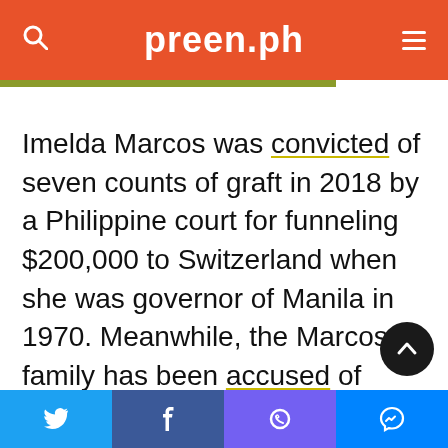preen.ph
Imelda Marcos was convicted of seven counts of graft in 2018 by a Philippine court for funneling $200,000 to Switzerland when she was governor of Manila in 1970. Meanwhile, the Marcos family has been accused of stashing in overseas accounts billions of dollars in hidden wealth.
Twitter | Facebook | Viber | Messenger